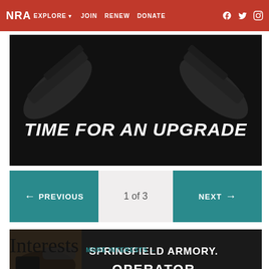NRA EXPLORE  JOIN  RENEW  DONATE
[Figure (photo): Dark advertisement banner with firearms in the background and bold italic text 'TIME FOR AN UPGRADE']
← PREVIOUS   1 of 3   NEXT →
[Figure (photo): Springfield Armory Operator advertisement banner with a pistol on the left and white text 'SPRINGFIELD ARMORY. OPERATOR' on dark background]
Interests  MORE INTERESTS →